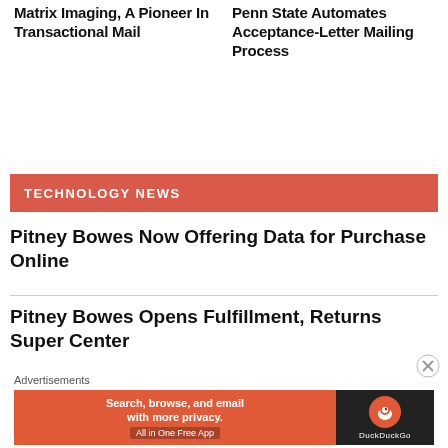Matrix Imaging, A Pioneer In Transactional Mail
Penn State Automates Acceptance-Letter Mailing Process
TECHNOLOGY NEWS
Pitney Bowes Now Offering Data for Purchase Online
Pitney Bowes Opens Fulfillment, Returns Super Center
Advertisements
[Figure (infographic): DuckDuckGo advertisement banner: 'Search, browse, and email with more privacy. All in One Free App' with DuckDuckGo logo on dark background.]